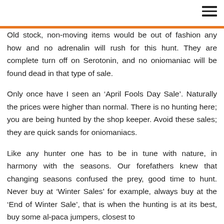Old stock, non-moving items would be out of fashion any how and no adrenalin will rush for this hunt. They are complete turn off on Serotonin, and no oniomaniac will be found dead in that type of sale.
Only once have I seen an ‘April Fools Day Sale’. Naturally the prices were higher than normal. There is no hunting here; you are being hunted by the shop keeper. Avoid these sales; they are quick sands for oniomaniacs.
Like any hunter one has to be in tune with nature, in harmony with the seasons. Our forefathers knew that changing seasons confused the prey, good time to hunt. Never buy at ‘Winter Sales’ for example, always buy at the ‘End of Winter Sale’, that is when the hunting is at its best, buy some al-paca jumpers, closest to the...